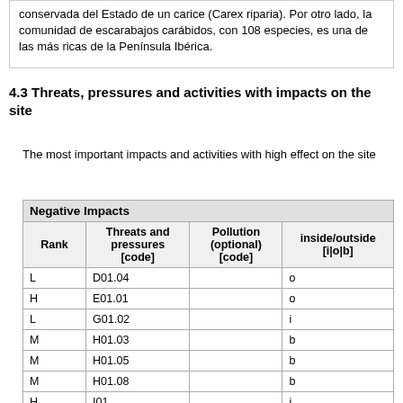conservada del Estado de un carice (Carex riparia). Por otro lado, la comunidad de escarabajos carábidos, con 108 especies, es una de las más ricas de la Península Ibérica.
4.3 Threats, pressures and activities with impacts on the site
The most important impacts and activities with high effect on the site
| Negative Impacts |  |  |  |
| --- | --- | --- | --- |
| L | D01.04 |  | o |
| H | E01.01 |  | o |
| L | G01.02 |  | i |
| M | H01.03 |  | b |
| M | H01.05 |  | b |
| M | H01.08 |  | b |
| H | I01 |  | i |
| L | D01.04 |  | o |